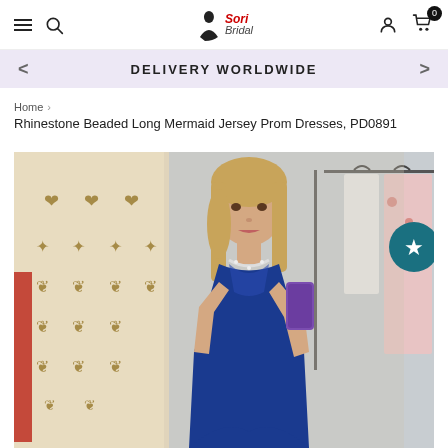SoriBridal navigation bar with hamburger menu, search, logo, user icon, cart (0)
DELIVERY WORLDWIDE
Home > Rhinestone Beaded Long Mermaid Jersey Prom Dresses, PD0891
Rhinestone Beaded Long Mermaid Jersey Prom Dresses, PD0891
[Figure (photo): Woman wearing a royal blue halter mermaid prom dress with rhinestone neckline, taking a mirror selfie in a clothing store]